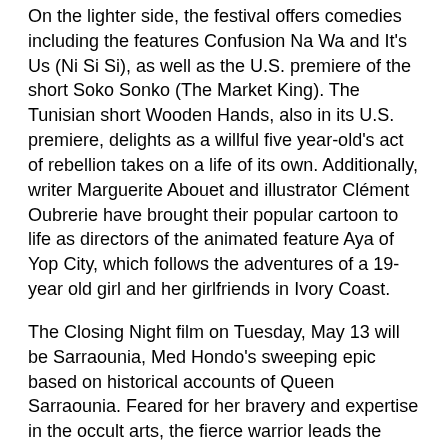On the lighter side, the festival offers comedies including the features Confusion Na Wa and It's Us (Ni Si Si), as well as the U.S. premiere of the short Soko Sonko (The Market King). The Tunisian short Wooden Hands, also in its U.S. premiere, delights as a willful five year-old's act of rebellion takes on a life of its own. Additionally, writer Marguerite Abouet and illustrator Clément Oubrerie have brought their popular cartoon to life as directors of the animated feature Aya of Yop City, which follows the adventures of a 19-year old girl and her girlfriends in Ivory Coast.
The Closing Night film on Tuesday, May 13 will be Sarraounia, Med Hondo's sweeping epic based on historical accounts of Queen Sarraounia. Feared for her bravery and expertise in the occult arts, the fierce warrior leads the Azans of Niger into battle against French colonialists and enslavement at the turn of the century. The historical drama took first prize at the Panafrican Film and Television Festival of Ouagadougou (FESPACO) in 1987. Regular festival pricing applies.
From May 8 to 13, the Frieda and Roy Furman Gallery will